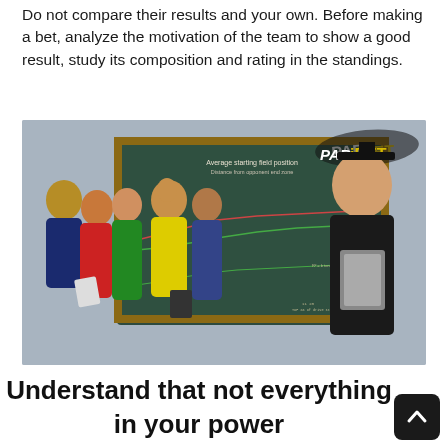Do not compare their results and your own. Before making a bet, analyze the motivation of the team to show a good result, study its composition and rating in the standings.
[Figure (photo): A group of students celebrating in front of a blackboard that shows a chart titled 'Average starting field position — Distance from opponent end zone', with a female teacher in graduation attire holding a folder. The PAriBET logo appears in the top right corner of the image.]
Understand that not everything in your power